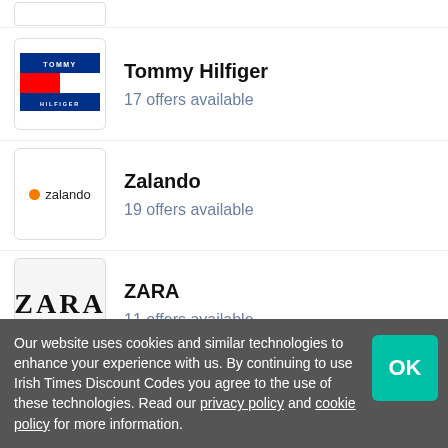Tommy Hilfiger — 17 offers available
Zalando — 19 offers available
ZARA — 11 offers available
In The Style — 20 offers available
Our website uses cookies and similar technologies to enhance your experience with us. By continuing to use Irish Times Discount Codes you agree to the use of these technologies. Read our privacy policy and cookie policy for more information.